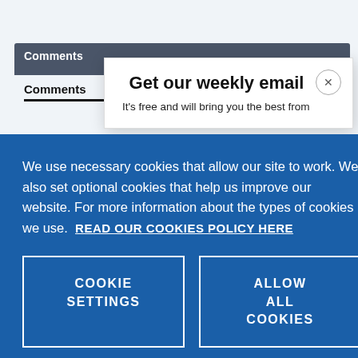Comments
Comments
Get our weekly email
It's free and will bring you the best from
We use necessary cookies that allow our site to work. We also set optional cookies that help us improve our website. For more information about the types of cookies we use. READ OUR COOKIES POLICY HERE
COOKIE SETTINGS
ALLOW ALL COOKIES
data.